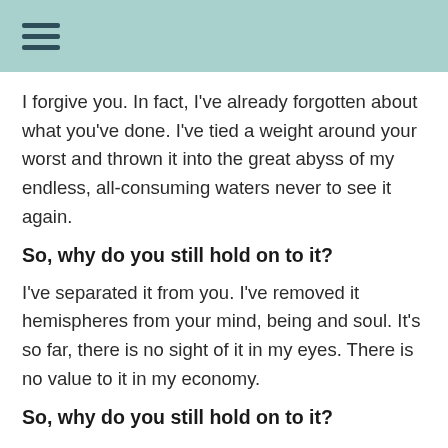I forgive you. In fact, I've already forgotten about what you've done. I've tied a weight around your worst and thrown it into the great abyss of my endless, all-consuming waters never to see it again.
So, why do you still hold on to it?
I've separated it from you. I've removed it hemispheres from your mind, being and soul. It's so far, there is no sight of it in my eyes. There is no value to it in my economy.
So, why do you still hold on to it?
You expressed your remorse. You asked for forgiveness. It is done. I judge you not and I consider it not stuck to you, not